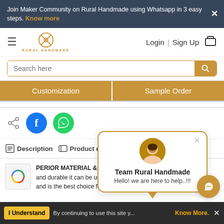Join Maker Community on Rural Handmade using Whatsapp in 3 easy steps. Know more
[Figure (screenshot): Rural Handmade website header with logo, Login, Sign Up, cart icon]
[Figure (screenshot): Search bar with placeholder 'Search here' and orange search button]
Customization | Sample Order
[Figure (infographic): Chat popup from Team Rural Handmade: 'Hello! we are here to help..!!!' with agent avatar and orange border]
[Figure (screenshot): Social share icons: share icon, Facebook circle, WhatsApp circle]
Description | Product details | RH Ins
PERIOR MATERIAL & LIGHT WEIGHT : This tote and durable it can be used repeatedly. and is the best choice for green life. this bag is light
I Understand   By continuing to use this site y...   Know More.  X